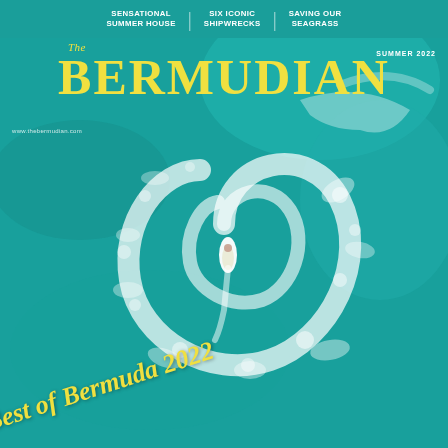SENSATIONAL SUMMER HOUSE | SIX ICONIC SHIPWRECKS | SAVING OUR SEAGRASS
THE BERMUDIAN
SUMMER 2022
www.thebermudian.com
[Figure (photo): Aerial view of a jet skier making a circular wake pattern in turquoise Bermuda ocean water, photographed from directly above]
Best of Bermuda 2022